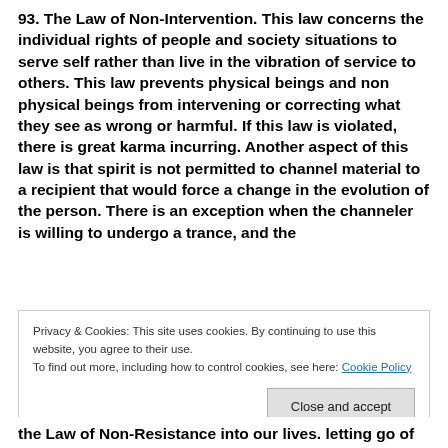93. The Law of Non-Intervention. This law concerns the individual rights of people and society situations to serve self rather than live in the vibration of service to others. This law prevents physical beings and non physical beings from intervening or correcting what they see as wrong or harmful. If this law is violated, there is great karma incurring. Another aspect of this law is that spirit is not permitted to channel material to a recipient that would force a change in the evolution of the person. There is an exception when the channeler is willing to undergo a trance, and the
Privacy & Cookies: This site uses cookies. By continuing to use this website, you agree to their use.
To find out more, including how to control cookies, see here: Cookie Policy
the Law of Non-Resistance into our lives. letting go of